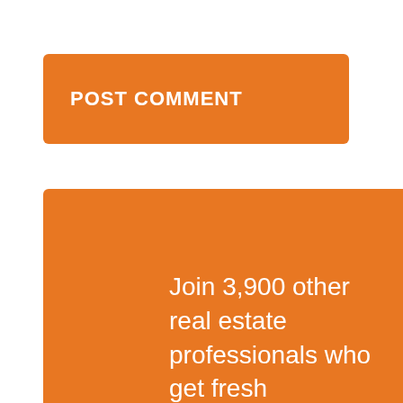[Figure (other): Orange button with white bold text reading POST COMMENT]
Join 3,900 other real estate professionals who get fresh marketing advice in the form of podcasts, articles, videos, and webinars to help them become the authority in their market. Just enter